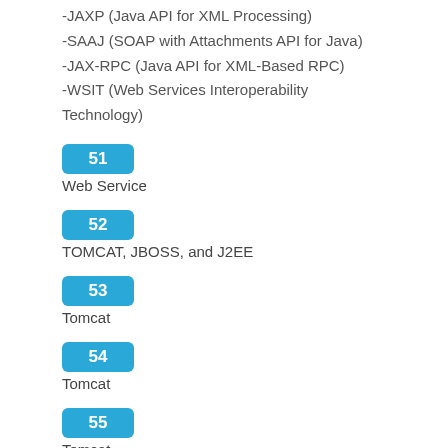-JAXP (Java API for XML Processing)
-SAAJ (SOAP with Attachments API for Java)
-JAX-RPC (Java API for XML-Based RPC)
-WSIT (Web Services Interoperability Technology)
51
Web Service
52
TOMCAT, JBOSS, and J2EE
53
Tomcat
54
Tomcat
55
Tomcat
56